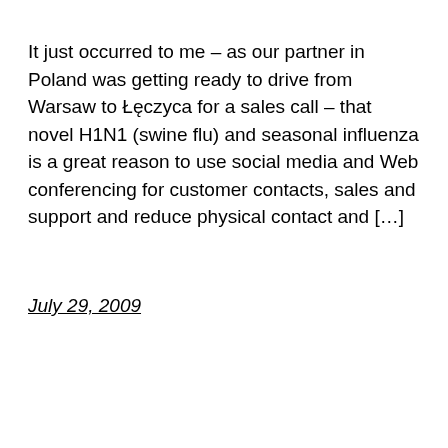It just occurred to me – as our partner in Poland was getting ready to drive from Warsaw to Łęczyca for a sales call – that novel H1N1 (swine flu) and seasonal influenza is a great reason to use social media and Web conferencing for customer contacts, sales and support and reduce physical contact and […]
July 29, 2009